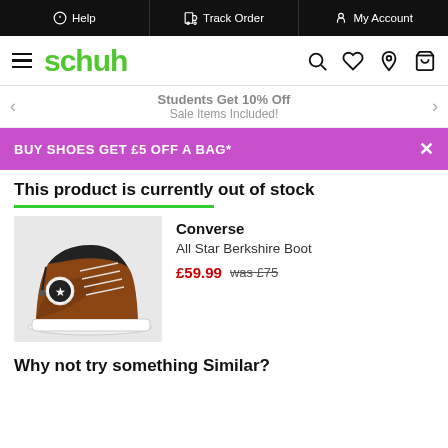Help | Track Order | My Account
[Figure (logo): Schuh logo with hamburger menu and navigation icons (search, wishlist, store, bag)]
Students Get 10% Off
Sale Items Included!
BUY SHOES GET £5 OFF A BAG*
This product is currently out of stock
[Figure (photo): Converse All Star Berkshire Boot - brown leather high-top sneaker on grey background]
Converse
All Star Berkshire Boot
£59.99 was £75
Why not try something Similar?